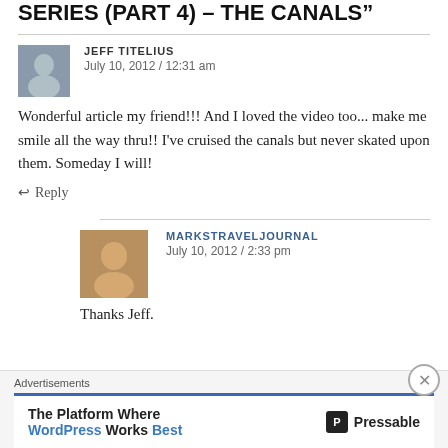SERIES (PART 4) – THE CANALS"
JEFF TITELIUS
July 10, 2012 / 12:31 am
Wonderful article my friend!!! And I loved the video too... make me smile all the way thru!! I've cruised the canals but never skated upon them. Someday I will!
↩ Reply
MARKSTRAVELJOURNAL
July 10, 2012 / 2:33 pm
Thanks Jeff.
Advertisements
The Platform Where WordPress Works Best — Pressable